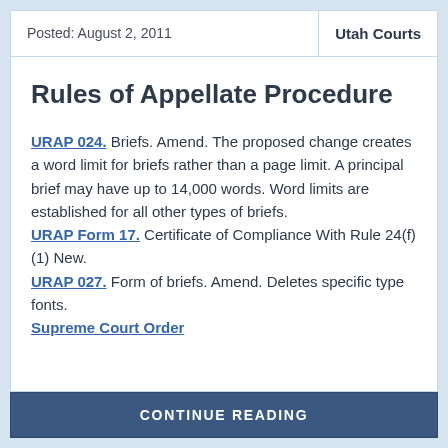Posted: August 2, 2011 | Utah Courts
Rules of Appellate Procedure
URAP 024. Briefs. Amend. The proposed change creates a word limit for briefs rather than a page limit. A principal brief may have up to 14,000 words. Word limits are established for all other types of briefs. URAP Form 17. Certificate of Compliance With Rule 24(f)(1) New. URAP 027. Form of briefs. Amend. Deletes specific type fonts. Supreme Court Order
CONTINUE READING